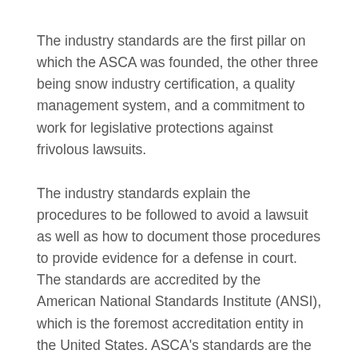The industry standards are the first pillar on which the ASCA was founded, the other three being snow industry certification, a quality management system, and a commitment to work for legislative protections against frivolous lawsuits.
The industry standards explain the procedures to be followed to avoid a lawsuit as well as how to document those procedures to provide evidence for a defense in court. The standards are accredited by the American National Standards Institute (ANSI), which is the foremost accreditation entity in the United States. ASCA's standards are the first such set of written standards to exist for the snow